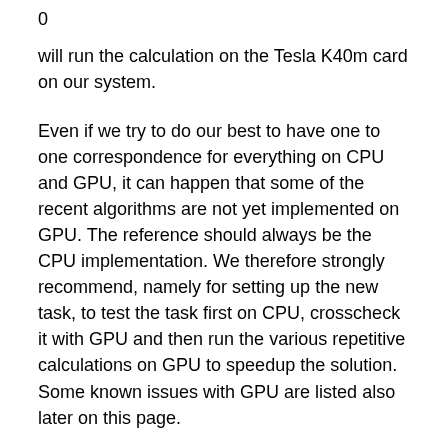0
will run the calculation on the Tesla K40m card on our system.
Even if we try to do our best to have one to one correspondence for everything on CPU and GPU, it can happen that some of the recent algorithms are not yet implemented on GPU. The reference should always be the CPU implementation. We therefore strongly recommend, namely for setting up the new task, to test the task first on CPU, crosscheck it with GPU and then run the various repetitive calculations on GPU to speedup the solution. Some known issues with GPU are listed also later on this page.
As an example you can test the following parameter files, comparing performance of GSvit on different number of CPU cores and on a single GPU on the above mentioned system. The calculation took 8 minutes 37 seconds on a single core, 4 minutes 48 seconds on eight cores, and 54...